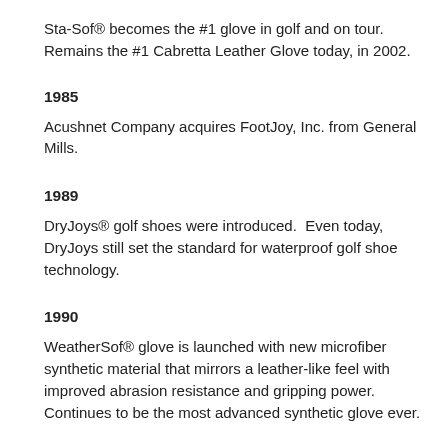Sta-Sof® becomes the #1 glove in golf and on tour. Remains the #1 Cabretta Leather Glove today, in 2002.
1985
Acushnet Company acquires FootJoy, Inc. from General Mills.
1989
DryJoys® golf shoes were introduced.  Even today, DryJoys still set the standard for waterproof golf shoe technology.
1990
WeatherSof® glove is launched with new microfiber synthetic material that mirrors a leather-like feel with improved abrasion resistance and gripping power. Continues to be the most advanced synthetic glove ever.
1994